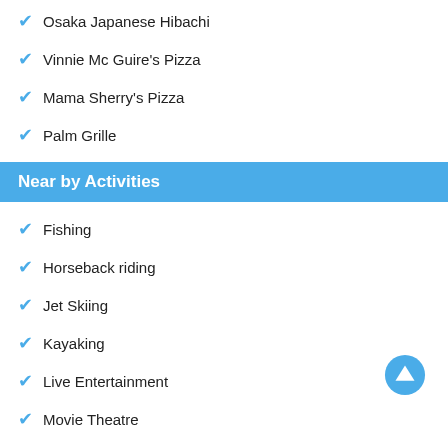Osaka Japanese Hibachi
Vinnie Mc Guire's Pizza
Mama Sherry's Pizza
Palm Grille
Near by Activities
Fishing
Horseback riding
Jet Skiing
Kayaking
Live Entertainment
Movie Theatre
Outlet Stores
Shopping Malls
Walking Tours